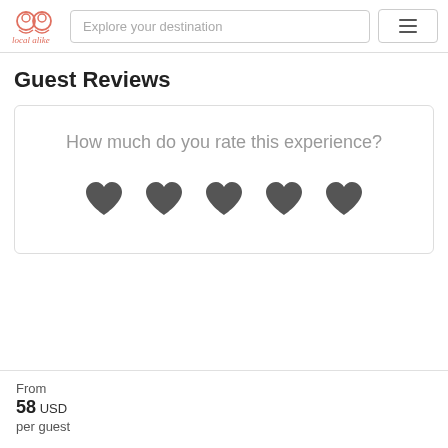local alike — Explore your destination
Guest Reviews
[Figure (other): Rating card with text 'How much do you rate this experience?' and 5 heart icons for rating]
From
58 USD
per guest